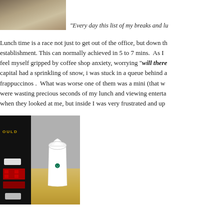[Figure (photo): Photo of a wooden surface or table top, cropped at top of page]
“Every day this list of my breaks and lu
Lunch time is a race not just to get out of the office, but down th establishment. This can normally achieved in 5 to 7 mins.  As I feel myself gripped by coffee shop anxiety, worrying “will there capital had a sprinkling of snow, i was stuck in a queue behind a frappuccinos .  What was worse one of them was a mini (that wa were wasting precious seconds of my lunch and viewing enterta when they looked at me, but inside I was very frustrated and up
[Figure (photo): Photo of a Starbucks frappuccino cup on a wooden counter next to a dark coffee machine]